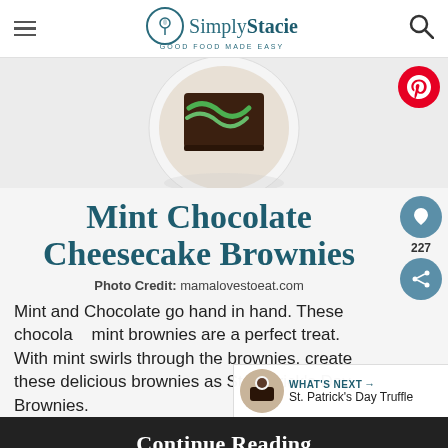Simply Stacie – GOOD FOOD MADE EASY
[Figure (photo): Circular plate with a slice of mint chocolate cheesecake brownie with green mint swirls, on a white plate. Pinterest share button in top right corner.]
Mint Chocolate Cheesecake Brownies
Photo Credit: mamalovestoeat.com
Mint and Chocolate go hand in hand. These chocolate mint brownies are a perfect treat. With mint swirls through the brownies, create these delicious brownies as St. Patrick's Day Brownies.
Continue Reading
"You okay?"